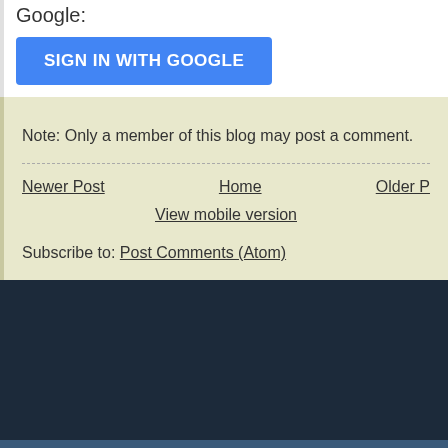Google:
[Figure (other): Blue 'SIGN IN WITH GOOGLE' button]
Note: Only a member of this blog may post a comment.
Newer Post | Home | Older Post
View mobile version
Subscribe to: Post Comments (Atom)